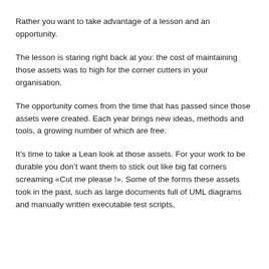Rather you want to take advantage of a lesson and an opportunity.
The lesson is staring right back at you: the cost of maintaining those assets was to high for the corner cutters in your organisation.
The opportunity comes from the time that has passed since those assets were created. Each year brings new ideas, methods and tools, a growing number of which are free.
It’s time to take a Lean look at those assets. For your work to be durable you don’t want them to stick out like big fat corners screaming «Cut me please !». Some of the forms these assets took in the past, such as large documents full of UML diagrams and manually written executable test scripts,